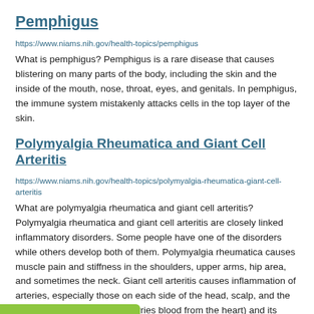Pemphigus
https://www.niams.nih.gov/health-topics/pemphigus
What is pemphigus? Pemphigus is a rare disease that causes blistering on many parts of the body, including the skin and the inside of the mouth, nose, throat, eyes, and genitals. In pemphigus, the immune system mistakenly attacks cells in the top layer of the skin.
Polymyalgia Rheumatica and Giant Cell Arteritis
https://www.niams.nih.gov/health-topics/polymyalgia-rheumatica-giant-cell-arteritis
What are polymyalgia rheumatica and giant cell arteritis? Polymyalgia rheumatica and giant cell arteritis are closely linked inflammatory disorders. Some people have one of the disorders while others develop both of them. Polymyalgia rheumatica causes muscle pain and stiffness in the shoulders, upper arms, hip area, and sometimes the neck. Giant cell arteritis causes inflammation of arteries, especially those on each side of the head, scalp, and the aorta (the large artery that carries blood from the heart) and its main branches. The main symptoms of this disorder are: Headaches. Scalp tenderness. Jaw pain. Problems with your eyes, which may